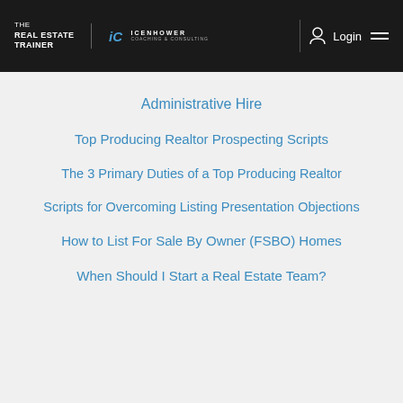THE REAL ESTATE TRAINER | ICENHOWER COACHING & CONSULTING | Login
Administrative Hire
Top Producing Realtor Prospecting Scripts
The 3 Primary Duties of a Top Producing Realtor
Scripts for Overcoming Listing Presentation Objections
How to List For Sale By Owner (FSBO) Homes
When Should I Start a Real Estate Team?